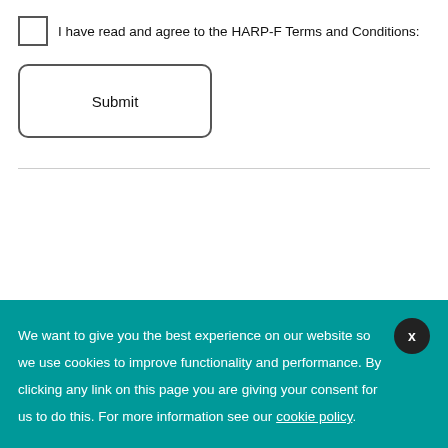I have read and agree to the HARP-F Terms and Conditions:
Submit
We want to give you the best experience on our website so we use cookies to improve functionality and performance. By clicking any link on this page you are giving your consent for us to do this. For more information see our cookie policy.